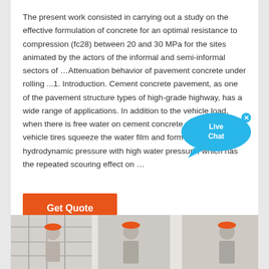The present work consisted in carrying out a study on the effective formulation of concrete for an optimal resistance to compression (fc28) between 20 and 30 MPa for the sites animated by the actors of the informal and semi-informal sectors of …Attenuation behavior of pavement concrete under rolling ...1. Introduction. Cement concrete pavement, as one of the pavement structure types of high-grade highway, has a wide range of applications. In addition to the vehicle load, when there is free water on cement concrete pavement, the vehicle tires squeeze the water film and form the hydrodynamic pressure with high water pressure, which has the repeated scouring effect on …
[Figure (other): Live Chat widget — blue speech bubble with 'Live Chat' text and a close X button]
[Figure (other): Orange 'Get Quote' button]
[Figure (photo): Bottom strip showing construction workers and scaffolding imagery, partially cut off]